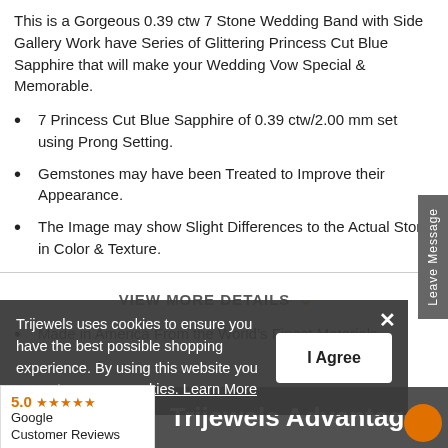This is a Gorgeous 0.39 ctw 7 Stone Wedding Band with Side Gallery Work have Series of Glittering Princess Cut Blue Sapphire that will make your Wedding Vow Special & Memorable.
7 Princess Cut Blue Sapphire of 0.39 ctw/2.00 mm set using Prong Setting.
Gemstones may have been Treated to Improve their Appearance.
The Image may show Slight Differences to the Actual Stone in Color & Texture.
Natural Properties & Composition of Mined Gemstones define the Unique beauty of each Stone.
Made in America From the World's Finest Materials.
VIEW MORE DETAILS
Trijewels uses cookies to ensure you have the best possible shopping experience. By using this website you agree to use our cookies. Learn More
I Agree
5.0 ★★★★★ Google Customer Reviews
Trijewels Advantages